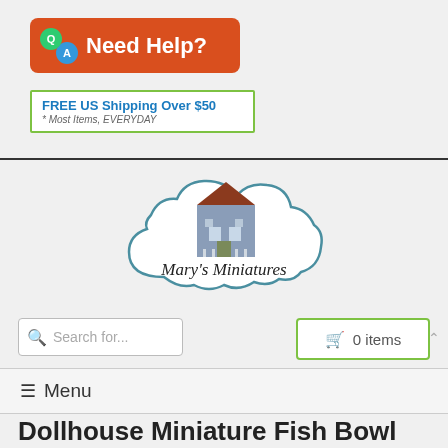[Figure (logo): Need Help? banner with Q and A speech bubbles on orange/red background]
[Figure (infographic): FREE US Shipping Over $50 banner with green border, subtitle: * Most Items, EVERYDAY]
[Figure (logo): Mary's Miniatures cloud logo with a Victorian house illustration]
Search for...
0 items
≡ Menu
Dollhouse Miniature Fish Bowl Stand Large